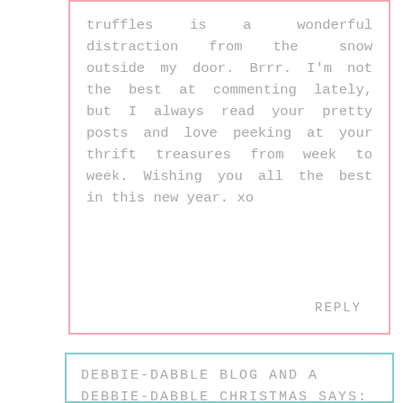truffles is a wonderful distraction from the snow outside my door. Brrr. I'm not the best at commenting lately, but I always read your pretty posts and love peeking at your thrift treasures from week to week. Wishing you all the best in this new year. xo
REPLY
DEBBIE-DABBLE BLOG AND A DEBBIE-DABBLE CHRISTMAS SAYS: